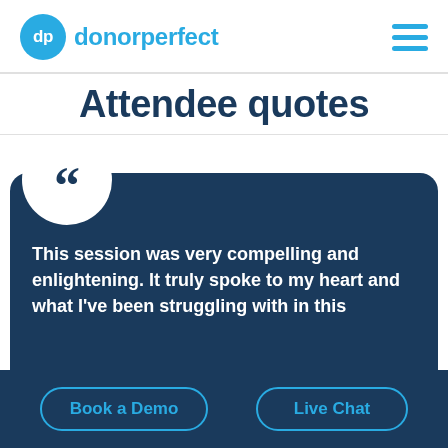dp donorperfect
Attendee quotes
This session was very compelling and enlightening. It truly spoke to my heart and what I've been struggling with in this
Book a Demo
Live Chat